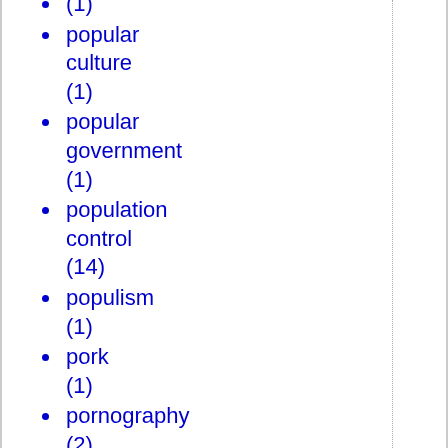(1)
popular culture (1)
popular government (1)
population control (14)
populism (1)
pork (1)
pornography (2)
Positively 4th Street (1)
Postmodern Politics (1)
postmodernism (6)